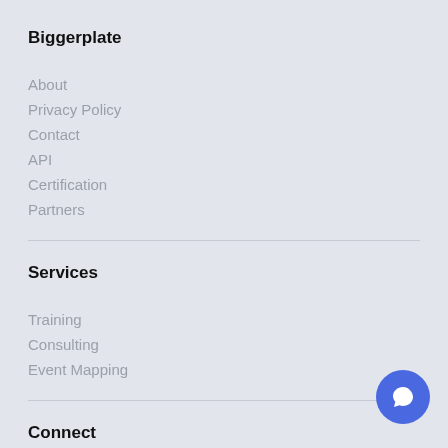Biggerplate
About
Privacy Policy
Contact
API
Certification
Partners
Services
Training
Consulting
Event Mapping
Connect
Facebook
Twitter